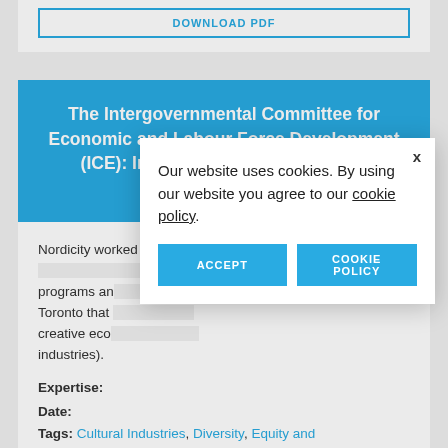DOWNLOAD PDF
The Intergovernmental Committee for Economic and Labour Force Development (ICE): Immigrants and the Creative Economy
Nordicity worked with Karen Tisch and Charlotte Speilman to … programs an… Toronto that … creative eco… industries).
Expertise:
Date:
Tags: Cultural Industries, Diversity, Equity and
Our website uses cookies. By using our website you agree to our cookie policy.